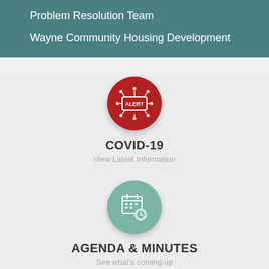Problem Resolution Team
Wayne Community Housing Development
[Figure (illustration): Red circle alert icon with virus/network nodes graphic and 'ALERT' text in white]
COVID-19
View Latest Information
[Figure (illustration): Teal/green circle icon with calendar and clock graphic]
AGENDA & MINUTES
See what's coming up